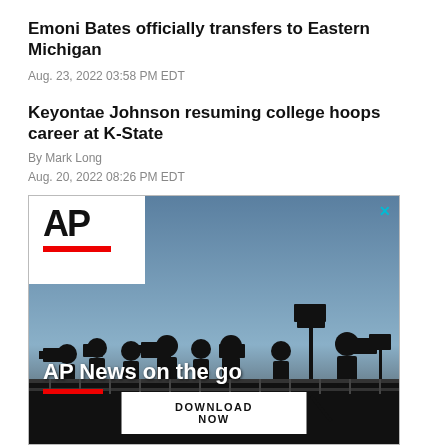Emoni Bates officially transfers to Eastern Michigan
Aug. 23, 2022 03:58 PM EDT
Keyontae Johnson resuming college hoops career at K-State
By Mark Long
Aug. 20, 2022 08:26 PM EDT
[Figure (photo): AP News advertisement showing silhouettes of media crews with cameras against a blue sky, with AP logo, text 'AP News on the go', red bar, and 'DOWNLOAD NOW' button]